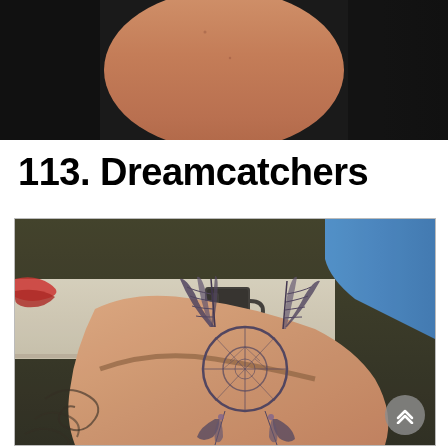[Figure (photo): Close-up photo of a person's bare leg or arm against a dark background]
113. Dreamcatchers
[Figure (photo): Photo of a hand with a dreamcatcher tattoo, featuring feathers and a circular web design, with a coffee mug and other items visible in the background]